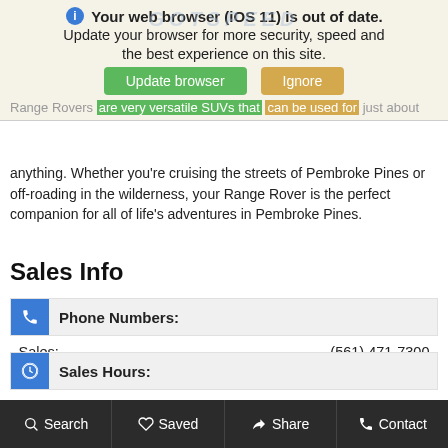[Figure (screenshot): Browser update notification banner with 'Your web browser (iOS 11) is out of date. Update your browser for more security, speed and the best experience on this site.' message, with Update browser (green) and Ignore (yellow) buttons, and a GotSpeed watermark logo.]
Range Rovers are very versatile SUVs that can be used for just about anything. Whether you're cruising the streets of Pembroke Pines or off-roading in the wilderness, your Range Rover is the perfect companion for all of life's adventures in Pembroke Pines.
Sales Info
| Phone Numbers: |  |
| --- | --- |
| Sales: | (561) 471-7300 |
| Sales Hours: |  |
| --- | --- |
| Mon - Fri | 9:00 AM - 6:00 PM |
| Sat | 10:00 AM - 4:00 PM |
| Sun | Closed |
Search  Saved  Share  Contact